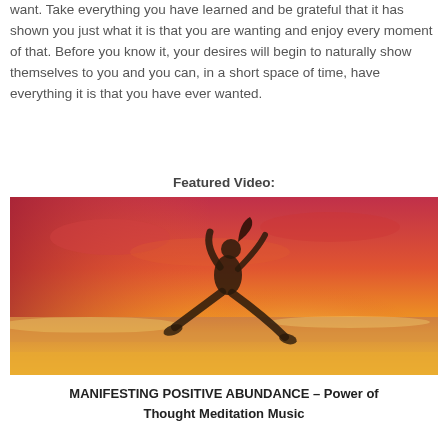want. Take everything you have learned and be grateful that it has shown you just what it is that you are wanting and enjoy every moment of that. Before you know it, your desires will begin to naturally show themselves to you and you can, in a short space of time, have everything it is that you have ever wanted.
Featured Video:
[Figure (photo): A person jumping joyfully on a beach at sunset, with a warm red and orange sky in the background and ocean waves visible.]
MANIFESTING POSITIVE ABUNDANCE – Power of Thought Meditation Music